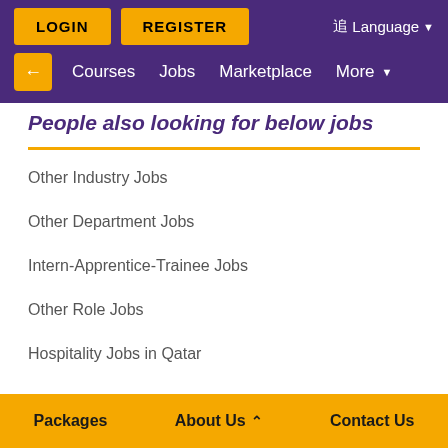LOGIN  REGISTER  Language  Courses  Jobs  Marketplace  More
People also looking for below jobs
Other Industry Jobs
Other Department Jobs
Intern-Apprentice-Trainee Jobs
Other Role Jobs
Hospitality Jobs in Qatar
Packages  About Us  Contact Us